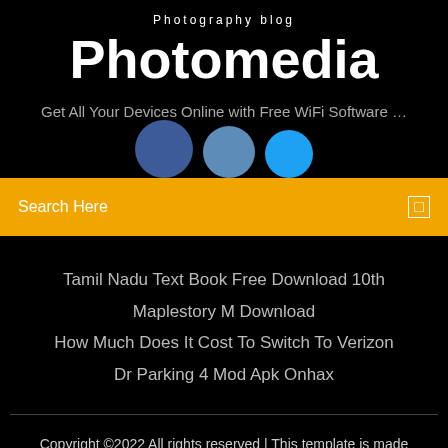Photography blog
Photomedia
Get All Your Devices Online with Free WiFi Software …
[Figure (illustration): Three overlapping circles in shades of blue representing social media icons (Facebook, Twitter, etc.)]
Search Here
Tamil Nadu Text Book Free Download 10th
Maplestory M Download
How Much Does It Cost To Switch To Verizon
Dr Parking 4 Mod Apk Onhax
Copyright ©2022 All rights reserved | This template is made with ♡ by Colorlib